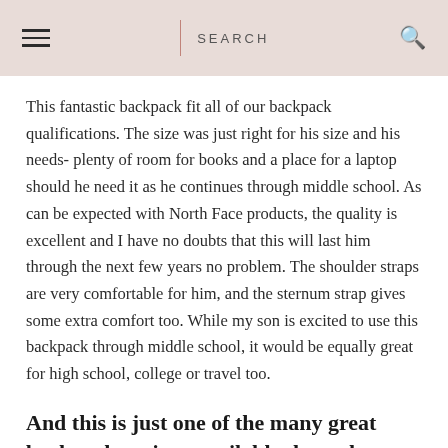SEARCH
This fantastic backpack fit all of our backpack qualifications. The size was just right for his size and his needs- plenty of room for books and a place for a laptop should he need it as he continues through middle school. As can be expected with North Face products, the quality is excellent and I have no doubts that this will last him through the next few years no problem. The shoulder straps are very comfortable for him, and the sternum strap gives some extra comfort too. While my son is excited to use this backpack through middle school, it would be equally great for high school, college or travel too.
And this is just one of the many great backpack options available through